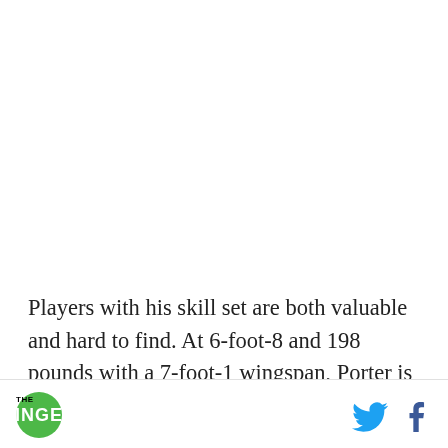Players with his skill set are both valuable and hard to find. At 6-foot-8 and 198 pounds with a 7-foot-1 wingspan, Porter is an elite shooter (career
THE RINGER [logo] [Twitter icon] [Facebook icon]